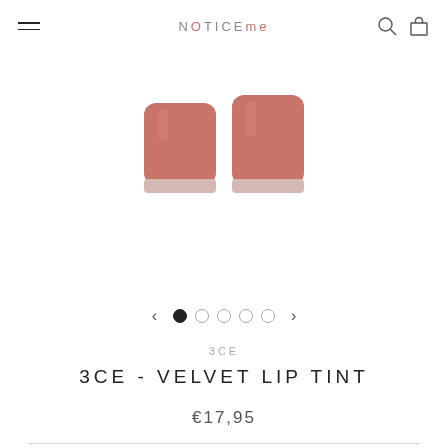NOTICEme
[Figure (photo): Two rose-pink cylindrical lip tint product containers with silver bases, partially cropped at top of image]
[Figure (other): Carousel navigation: left arrow, five dots (first filled, four empty), right arrow]
3CE
3CE - VELVET LIP TINT
€17,95